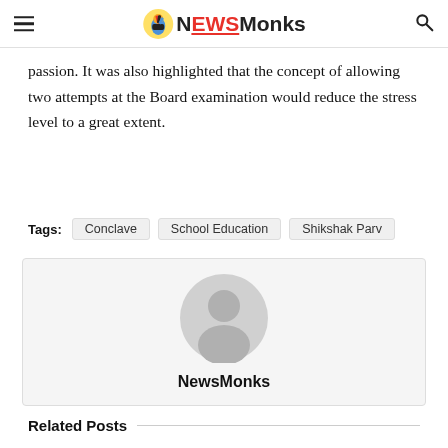NewsMonks
passion. It was also highlighted that the concept of allowing two attempts at the Board examination would reduce the stress level to a great extent.
Tags: Conclave  School Education  Shikshak Parv
[Figure (illustration): Author avatar placeholder with generic person silhouette icon, grey circle background]
NewsMonks
Related Posts